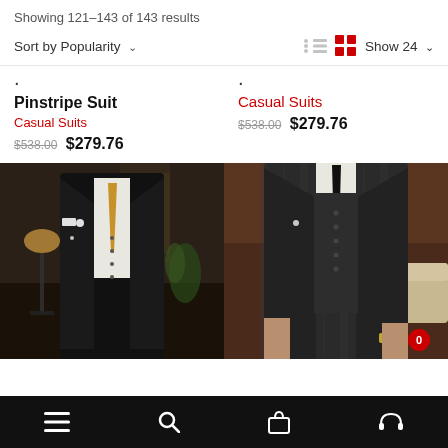Showing 121–143 of 143 results
Sort by Popularity
Show 24
Pinstripe Suit
Casual Suits
$538.00  $279.76
Casual Suits
$538.00  $279.76
[Figure (photo): Black pinstripe suit on a mannequin with gold tie and boutonniere in a showroom]
[Figure (photo): Dark charcoal plaid suit on a man with black tie and white shirt]